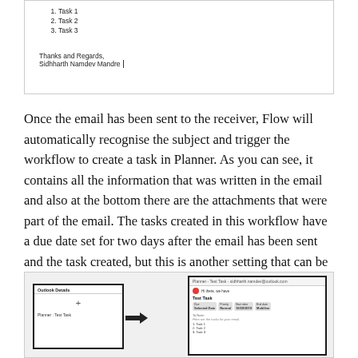[Figure (screenshot): Screenshot of an email composition window showing a numbered task list (Task 1, Task 2, Task 3) and a sign-off reading 'Thanks and Regards, Sidhharth Namdev Mandre']
Once the email has been sent to the receiver, Flow will automatically recognise the subject and trigger the workflow to create a task in Planner. As you can see, it contains all the information that was written in the email and also at the bottom there are the attachments that were part of the email. The tasks created in this workflow have a due date set for two days after the email has been sent and the task created, but this is another setting that can be changed during the set-up.
[Figure (screenshot): Screenshot showing two application panels side by side with an arrow between them. Left panel shows 'Outlook Details' with a '+' icon and 'Planner: Test Task' label. Right panel shows a Planner task detail view with a red circle, subject line, various fields (Due, Priority, Start date, End date), notes section, and a task list with Task 1, Task 2, Task 3.]